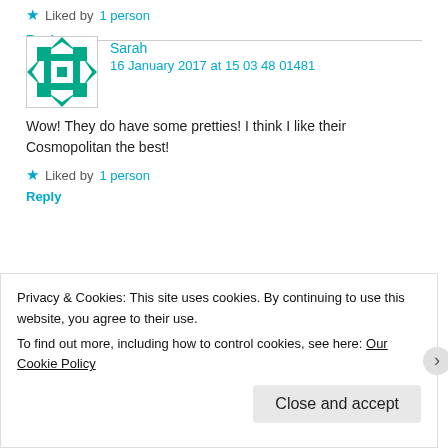★ Liked by 1 person
Reply
Sarah  16 January 2017 at 15 03 48 01481
Wow! They do have some pretties! I think I like their Cosmopolitan the best!
★ Liked by 1 person
Reply
Sarah  16 January 2017 at 15 03 49 01491
Whoops. In previous comment I left a messed up email.
Privacy & Cookies: This site uses cookies. By continuing to use this website, you agree to their use.
To find out more, including how to control cookies, see here: Our Cookie Policy
Close and accept